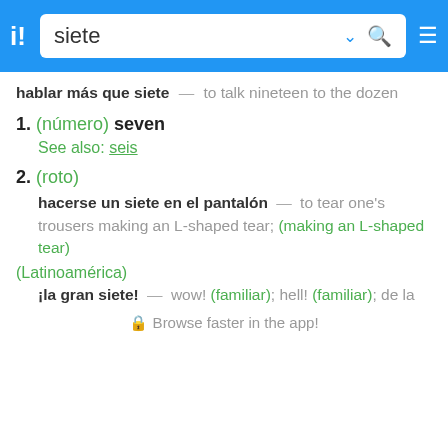siete
hablar más que siete — to talk nineteen to the dozen
1. (número) seven
See also: seis
2. (roto)
hacerse un siete en el pantalón — to tear one's trousers making an L-shaped tear; (making an L-shaped tear)
(Latinoamérica)
¡la gran siete! — wow! (familiar); hell! (familiar); de la
🔒 Browse faster in the app!